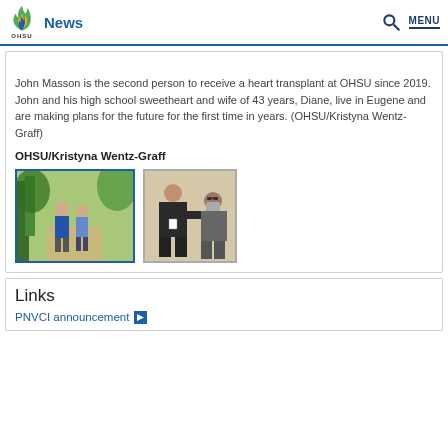News — OHSU
John Masson is the second person to receive a heart transplant at OHSU since 2019. John and his high school sweetheart and wife of 43 years, Diane, live in Eugene and are making plans for the future for the first time in years. (OHSU/Kristyna Wentz-Graff)
OHSU/Kristyna Wentz-Graff
[Figure (photo): Two people walking outdoors on a tree-lined path]
[Figure (photo): Doctor examining seated patient who is wearing a face mask]
Links
PNVCI announcement